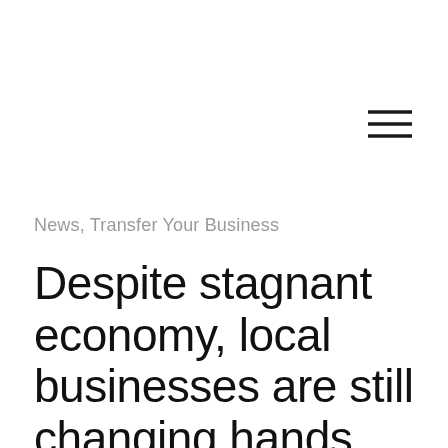[Figure (other): Hamburger menu icon (three horizontal lines) in the top-right corner]
News, Transfer Your Business
Despite stagnant economy, local businesses are still changing hands